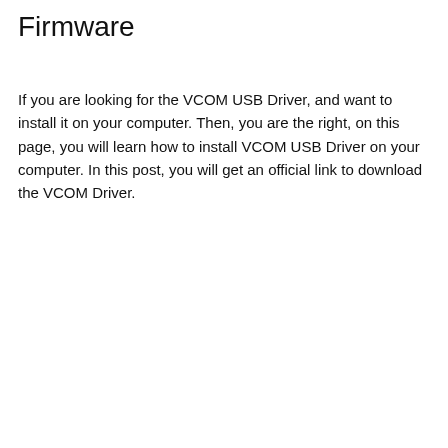Firmware
If you are looking for the VCOM USB Driver, and want to install it on your computer. Then, you are the right, on this page, you will learn how to install VCOM USB Driver on your computer. In this post, you will get an official link to download the VCOM Driver.